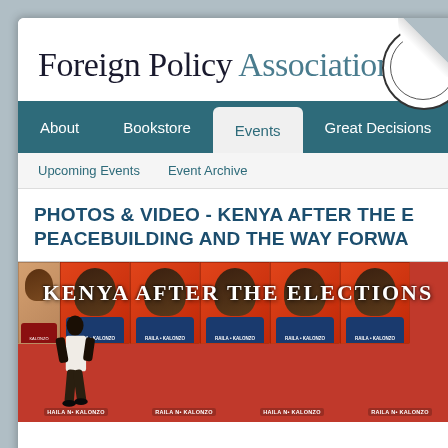Foreign Policy Association
About | Bookstore | Events | Great Decisions | M...
Upcoming Events
Event Archive
PHOTOS & VIDEO - KENYA AFTER THE ELECTIONS: PEACEBUILDING AND THE WAY FORWARD
[Figure (photo): A man walks past a wall covered in Raila Odinga campaign posters with the text 'KENYA AFTER THE ELECTIONS' overlaid on the image.]